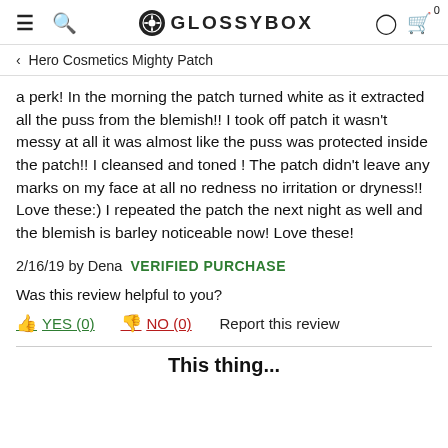≡  🔍  ⊛ GLOSSYBOX  👤  🛒 0
< Hero Cosmetics Mighty Patch
a perk! In the morning the patch turned white as it extracted all the puss from the blemish!! I took off patch it wasn't messy at all it was almost like the puss was protected inside the patch!! I cleansed and toned ! The patch didn't leave any marks on my face at all no redness no irritation or dryness!! Love these:) I repeated the patch the next night as well and the blemish is barley noticeable now! Love these!
2/16/19 by Dena VERIFIED PURCHASE
Was this review helpful to you?
👍 YES (0)   👎 NO (0)   Report this review
This thing...